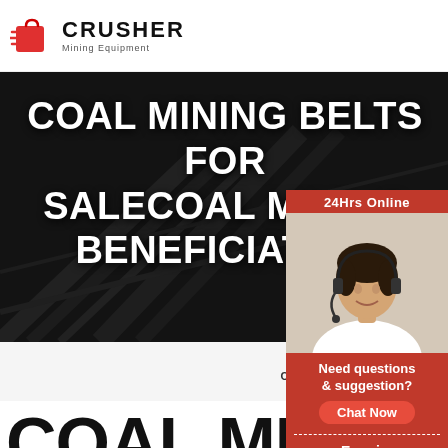[Figure (logo): Crusher Mining Equipment logo with red shopping bag icon and bold CRUSHER text]
[Figure (photo): Dark hero banner showing industrial mining conveyor belt structures with large white text overlay reading COAL MINING BELTS FOR SALECOAL MINING BENEFICIATION]
COAL MINING BELTS FOR SALECOAL MINING BENEFICIATION
HOME → PRODUCT → COAL MINING BELTS FOR SALECOAL MINING BENEFICIATION
[Figure (photo): Customer service representative with headset, sidebar widget showing 24Hrs Online, Need questions & suggestion?, Chat Now button, Enquiry section, and limingjlmofen@sina.com email]
COAL MININ